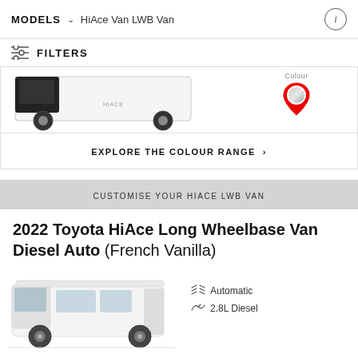MODELS  HiAce Van LWB Van
FILTERS
[Figure (photo): Partial view of a white HiAce van from the front, with a colour selector pin showing a silver/white colour swatch]
EXPLORE THE COLOUR RANGE >
CUSTOMISE YOUR HIACE LWB VAN
2022 Toyota HiAce Long Wheelbase Van Diesel Auto (French Vanilla)
[Figure (photo): White Toyota HiAce Long Wheelbase Van viewed from the front-side angle]
Automatic
2.8L Diesel